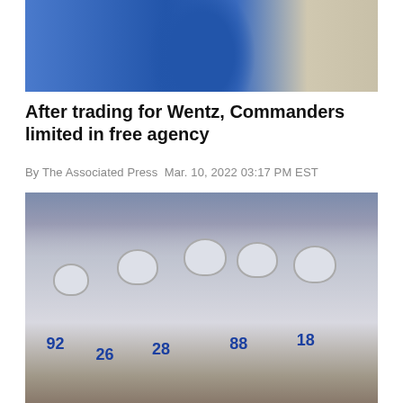[Figure (photo): Football player in blue jersey throwing a pass, close-up action shot]
After trading for Wentz, Commanders limited in free agency
By The Associated Press Mar. 10, 2022 03:17 PM EST
[Figure (photo): Dallas Cowboys players celebrating on field, wearing white jerseys and silver helmets with jersey numbers 92, 26, 28, 80, 18 visible]